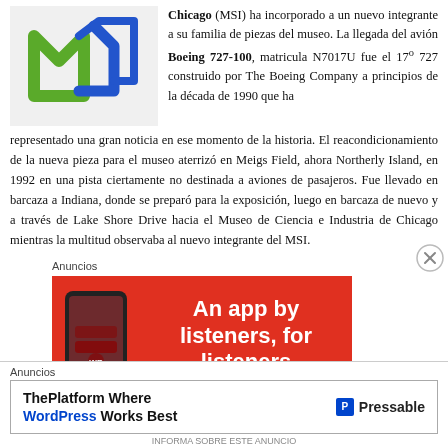[Figure (logo): MSI (Museum of Science and Industry Chicago) logo — green stylized M letters forming a cube shape with blue angular bracket design]
Chicago (MSI) ha incorporado a un nuevo integrante a su familia de piezas del museo. La llegada del avión Boeing 727-100, matricula N7017U fue el 17º 727 construido por The Boeing Company a principios de la década de 1990 que ha representado una gran noticia en ese momento de la historia. El reacondicionamiento de la nueva pieza para el museo aterrizó en Meigs Field, ahora Northerly Island, en 1992 en una pista ciertamente no destinada a aviones de pasajeros. Fue llevado en barcaza a Indiana, donde se preparó para la exposición, luego en barcaza de nuevo y a través de Lake Shore Drive hacia el Museo de Ciencia e Industria de Chicago mientras la multitud observaba al nuevo integrante del MSI.
Anuncios
[Figure (screenshot): Red advertisement banner for a music/audio app with phone image on left and bold white text 'An app by listeners, for listeners' on red background]
[Figure (other): Close button (X in circle) on right side]
Anuncios
[Figure (infographic): Bottom advertisement for Pressable WordPress hosting: 'ThePlatform Where WordPress Works Best' with Pressable logo]
INFORMA SOBRE ESTE ANUNCIO